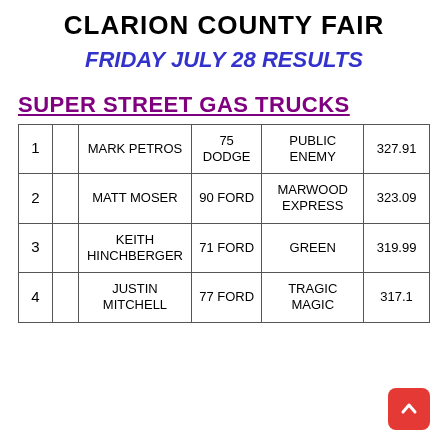CLARION COUNTY FAIR
FRIDAY JULY 28 RESULTS
SUPER STREET GAS TRUCKS
|  |  | NAME | VEHICLE | TRUCK NAME | SCORE |
| --- | --- | --- | --- | --- | --- |
| 1 |  | MARK PETROS | 75 DODGE | PUBLIC ENEMY | 327.91 |
| 2 |  | MATT MOSER | 90 FORD | MARWOOD EXPRESS | 323.09 |
| 3 |  | KEITH HINCHBERGER | 71 FORD | GREEN | 319.99 |
| 4 |  | JUSTIN MITCHELL | 77 FORD | TRAGIC MAGIC | 317.1 |